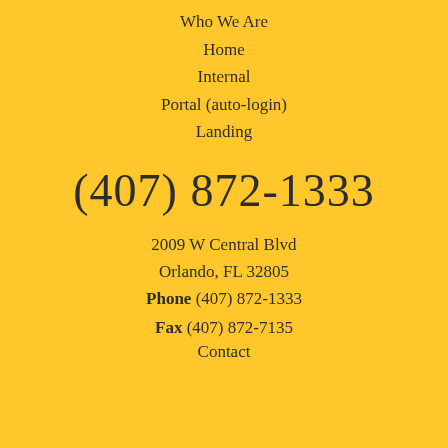Who We Are
Home
Internal
Portal (auto-login)
Landing
(407) 872-1333
2009 W Central Blvd
Orlando, FL 32805
Phone (407) 872-1333
Fax (407) 872-7135
Contact